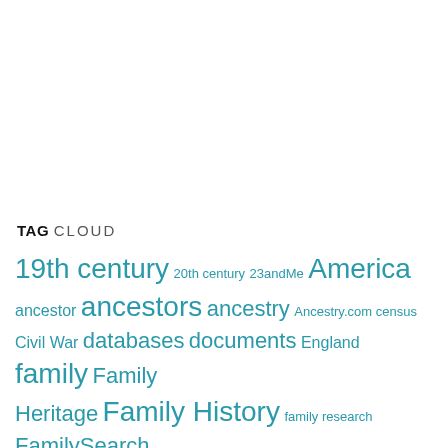TAG CLOUD
19th century 20th century 23andMe America ancestor ancestors ancestry Ancestry.com census Civil War databases documents England family Family Heritage Family History family research FamilySearch family stories familytree family tree familytree.com family tree research